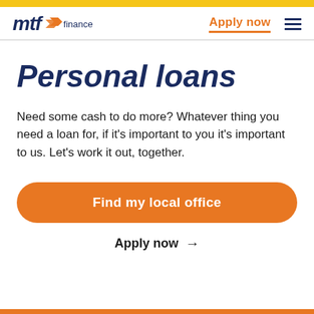[Figure (logo): MTF Finance logo with orange arrows and text]
Apply now
Personal loans
Need some cash to do more? Whatever thing you need a loan for, if it’s important to you it’s important to us. Let’s work it out, together.
Find my local office
Apply now →